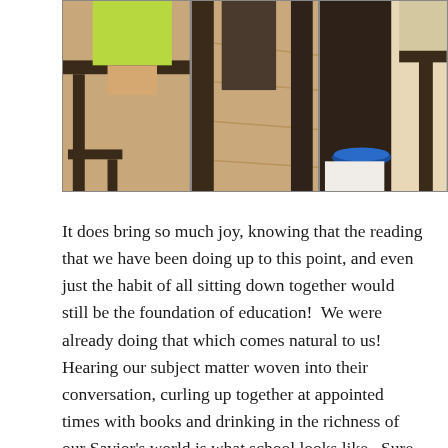[Figure (photo): A three-panel photo collage showing children at a table: left panel shows a child in a yellow-green shirt sitting at a dark wooden table, middle panel shows wooden floor and chair legs, right panel shows a dark shelf or table with a blue bowl or plate underneath and another table to the right.]
It does bring so much joy, knowing that the reading that we have been doing up to this point, and even just the habit of all sitting down together would still be the foundation of education!  We were already doing that which comes natural to us!  Hearing our subject matter woven into their conversation, curling up together at appointed times with books and drinking in the richness of our Savior's world is what school looks like.  Sure isn't easy, keeping attention, teaching habits and fighting attitudes, but it is rewarding.